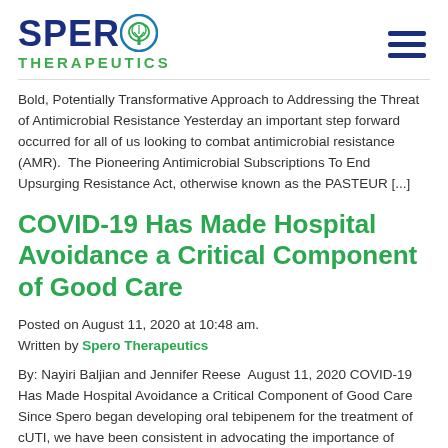[Figure (logo): Spero Therapeutics logo with tree icon and hamburger menu icon]
Bold, Potentially Transformative Approach to Addressing the Threat of Antimicrobial Resistance Yesterday an important step forward occurred for all of us looking to combat antimicrobial resistance (AMR).  The Pioneering Antimicrobial Subscriptions To End Upsurging Resistance Act, otherwise known as the PASTEUR [...]
COVID-19 Has Made Hospital Avoidance a Critical Component of Good Care
Posted on August 11, 2020 at 10:48 am.
Written by Spero Therapeutics
By: Nayiri Baljian and Jennifer Reese  August 11, 2020 COVID-19 Has Made Hospital Avoidance a Critical Component of Good Care Since Spero began developing oral tebipenem for the treatment of cUTI, we have been consistent in advocating the importance of keeping patients who do not